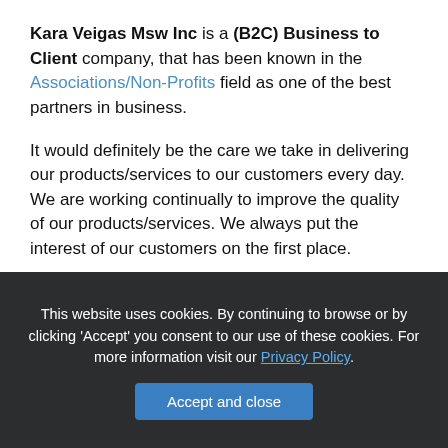Kara Veigas Msw Inc is a (B2C) Business to Client company, that has been known in the Associations/Non-Profits field as one of the best partners in business.
It would definitely be the care we take in delivering our products/services to our customers every day. We are working continually to improve the quality of our products/services. We always put the interest of our customers on the first place.
This website uses cookies. By continuing to browse or by clicking 'Accept' you consent to our use of these cookies. For more information visit our Privacy Policy.